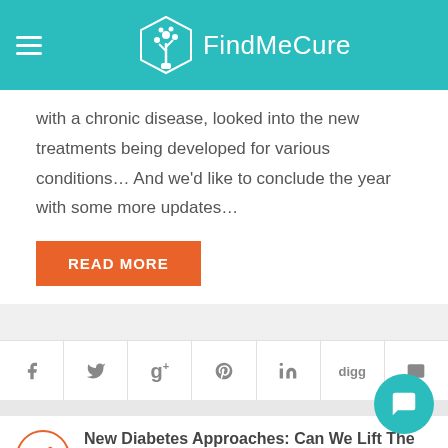FindMeCure
with a chronic disease, looked into the new treatments being developed for various conditions… And we'd like to conclude the year with some more updates…
READ MORE
[Figure (other): Social sharing icons bar: Facebook, Twitter, Google+, Pinterest, LinkedIn, Digg, Email]
New Diabetes Approaches: Can We Lift The Global Burden?
November 29, 2018  •  3152 Views  •  1